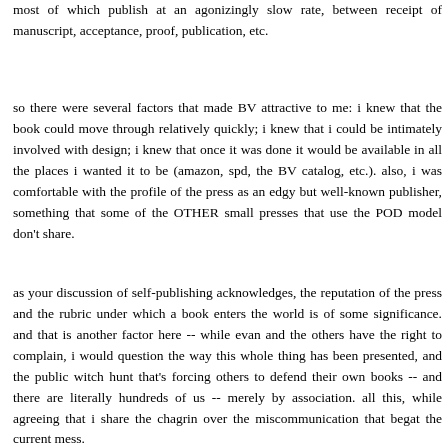most of which publish at an agonizingly slow rate, between receipt of manuscript, acceptance, proof, publication, etc.
so there were several factors that made BV attractive to me: i knew that the book could move through relatively quickly; i knew that i could be intimately involved with design; i knew that once it was done it would be available in all the places i wanted it to be (amazon, spd, the BV catalog, etc.). also, i was comfortable with the profile of the press as an edgy but well-known publisher, something that some of the OTHER small presses that use the POD model don't share.
as your discussion of self-publishing acknowledges, the reputation of the press and the rubric under which a book enters the world is of some significance. and that is another factor here -- while evan and the others have the right to complain, i would question the way this whole thing has been presented, and the public witch hunt that's forcing others to defend their own books -- and there are literally hundreds of us -- merely by association. all this, while agreeing that i share the chagrin over the miscommunication that begat the current mess.